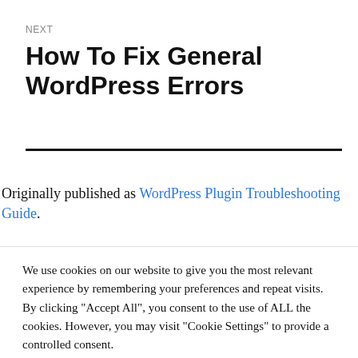NEXT
How To Fix General WordPress Errors
Originally published as WordPress Plugin Troubleshooting Guide.
We use cookies on our website to give you the most relevant experience by remembering your preferences and repeat visits. By clicking "Accept All", you consent to the use of ALL the cookies. However, you may visit "Cookie Settings" to provide a controlled consent.